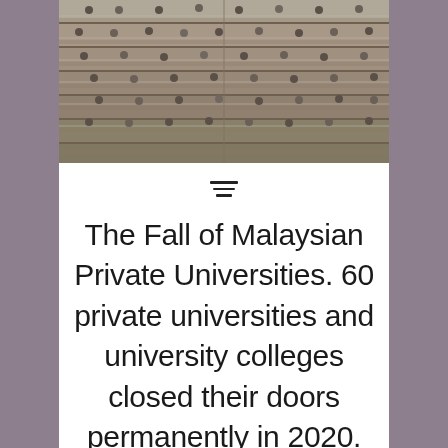[Figure (photo): Photograph of a large university lecture hall filled with students sitting at tiered rows of desks]
The Fall of Malaysian Private Universities. 60 private universities and university colleges closed their doors permanently in 2020. Who are out?